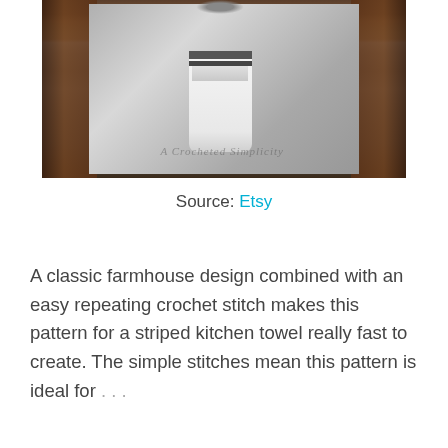[Figure (photo): A white crocheted kitchen towel with dark navy stripes hanging on a stainless steel oven door, flanked by dark wood cabinetry. A watermark reads 'A Crocheted Simplicity'.]
Source: Etsy
A classic farmhouse design combined with an easy repeating crochet stitch makes this pattern for a striped kitchen towel really fast to create. The simple stitches mean this pattern is ideal for . . .